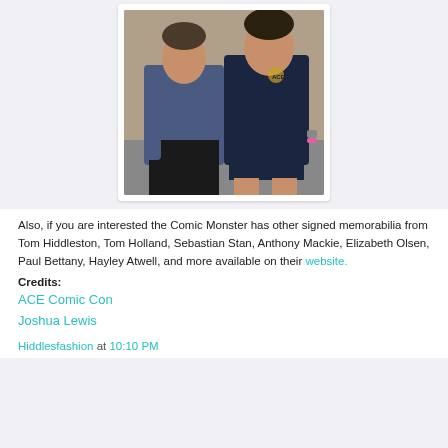[Figure (photo): Two men posing for a photo together. The man on the left wears a dark blue casual button-up shirt and dark pants. The man on the right wears a dark navy ACE polo shirt and dark shorts. Background appears to be an indoor convention setting.]
Also, if you are interested the Comic Monster has other signed memorabilia from Tom Hiddleston, Tom Holland, Sebastian Stan, Anthony Mackie, Elizabeth Olsen, Paul Bettany, Hayley Atwell, and more available on their website.
Credits:
ACE Comic Con
Joshua Lewis
Hiddlesfashion at 10:10 PM